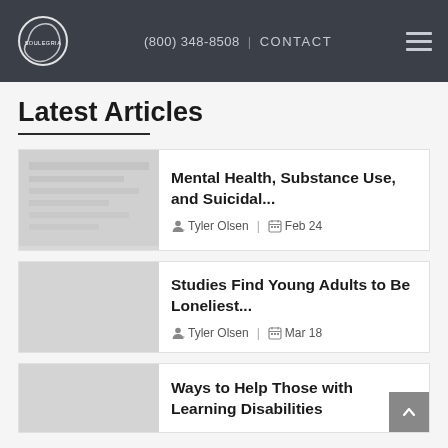(800) 348-8508  |  CONTACT
Latest Articles
Mental Health, Substance Use, and Suicidal... — Tyler Olsen | Feb 24
Studies Find Young Adults to Be Loneliest... — Tyler Olsen | Mar 18
Ways to Help Those with Learning Disabilities